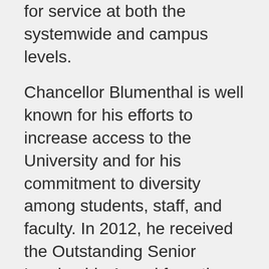for service at both the systemwide and campus levels.
Chancellor Blumenthal is well known for his efforts to increase access to the University and for his commitment to diversity among students, staff, and faculty. In 2012, he received the Outstanding Senior Leadership Award from the Council of University of California Staff Assemblies (CUCSA) in recognition of his advocacy on behalf of staff; he has been an honorary member of CUCSA since 2005.